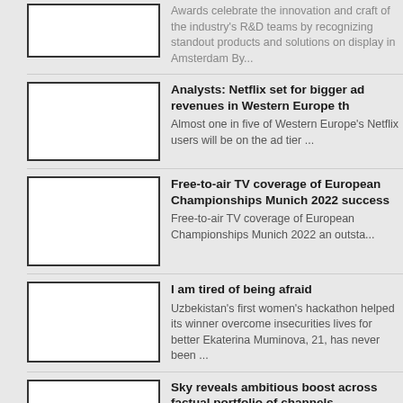Awards celebrate the innovation and craft of the industry's R&D teams by recognizing standout products and solutions on display in Amsterdam By...
Analysts: Netflix set for bigger ad revenues in Western Europe th
Almost one in five of Western Europe's Netflix users will be on the ad tier ...
Free-to-air TV coverage of European Championships Munich 2022 success
Free-to-air TV coverage of European Championships Munich 2022 an outsta...
I am tired of being afraid
Uzbekistan's first women's hackathon helped its winner overcome insecurities lives for better Ekaterina Muminova, 21, has never been ...
Sky reveals ambitious boost across factual portfolio of channels
Images can be downloaded here....
Discussing color workflow and cinematic look development for N with Mistika expert colorist Juan Cabrera
Published On: August 25th, 2022 -- -- -- -- data-orig-src=https://www....
Half Year Results 2022
Ad hoc announcement pursuant to Art. 53 LR Highlights: Total Group revenue USD 333.4 million In constant currency, the Group's net reven...